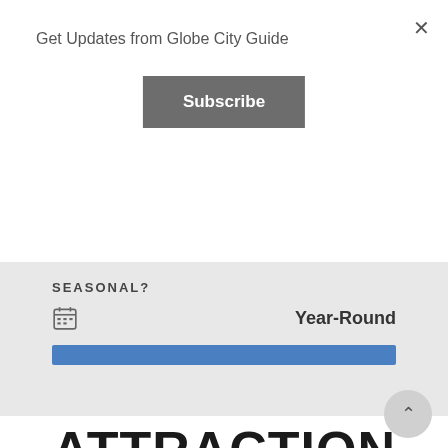Get Updates from Globe City Guide
Subscribe
SEASONAL?
Year-Round
[Figure (other): Blue horizontal progress bar indicating Year-Round availability]
ATTRACTION TIPS